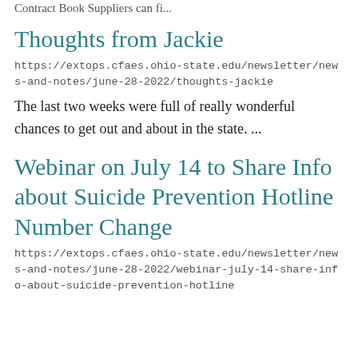Contract Book  Suppliers can fi...
Thoughts from Jackie
https://extops.cfaes.ohio-state.edu/newsletter/news-and-notes/june-28-2022/thoughts-jackie
The last two weeks were full of really wonderful chances to get out and about in the state. ...
Webinar on July 14 to Share Info about Suicide Prevention Hotline Number Change
https://extops.cfaes.ohio-state.edu/newsletter/news-and-notes/june-28-2022/webinar-july-14-share-info-about-suicide-prevention-hotline